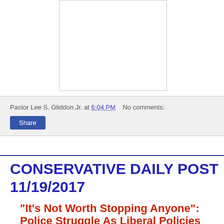[Figure (other): White rectangular advertisement placeholder with light gray border]
Pastor Lee S. Gliddon Jr. at 6:04 PM   No comments:
Share
CONSERVATIVE DAILY POST 11/19/2017
“It’s Not Worth Stopping Anyone”: Police Struggle As Liberal Policies